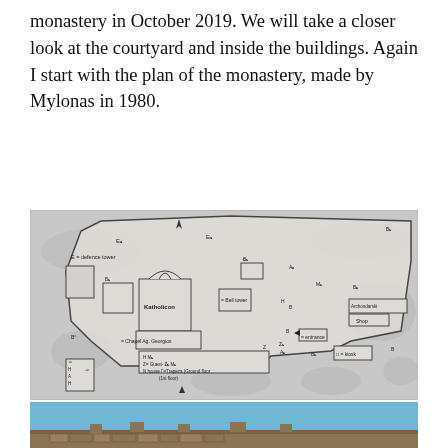monastery in October 2019. We will take a closer look at the courtyard and inside the buildings. Again I start with the plan of the monastery, made by Mylonas in 1980.
[Figure (map): Floor plan / site map of a monastery made by Mylonas in 1980, showing labelled structures including Katholicon, Bell tower, Chapel Ag. Georgios, Guest-house (1st floor), Trapeza (Ground floor), defence tower, entrance, kiosk, Archondarski, Shop, and various lettered sections (B, E, H, M, Z, etc.).]
[Figure (photo): Partial photograph of the monastery exterior showing a blue sky and stone fortification walls at the bottom of the page.]